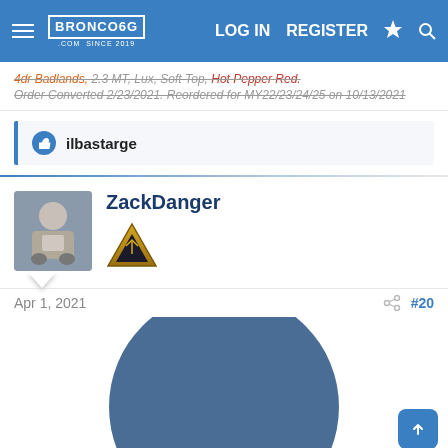Bronco6G.com — LOG IN   REGISTER
4dr Badlands, 2.3 MT, Lux, Soft Top, Hot Pepper Red. Order Converted 2/23/2021. Reordered for MY22/23/24/25 on 10/13/2021
ilbastarge
ZackDanger
Apr 1, 2021   #20
[Figure (pie-chart): Partially visible pie/donut chart in blue/slate color, cut off at bottom of page. A small legend entry is partially visible at bottom right.]